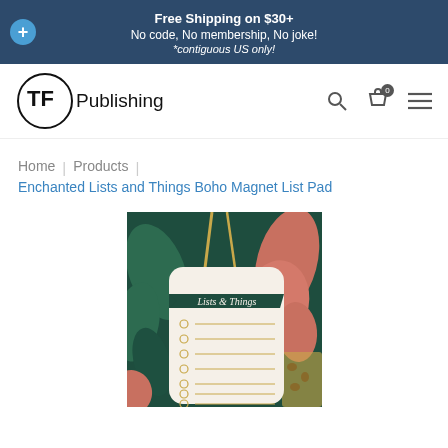Free Shipping on $30+
No code, No membership, No joke!
*contiguous US only!
[Figure (logo): TF Publishing logo - circle with TF letters and Publishing text]
Home | Products | Enchanted Lists and Things Boho Magnet List Pad
[Figure (photo): Enchanted Lists and Things Boho Magnet List Pad product image - a notepad with tropical/boho botanical leaf design in dark teal, pink and gold, with a banner reading Lists & Things and 7 checkbox lines]